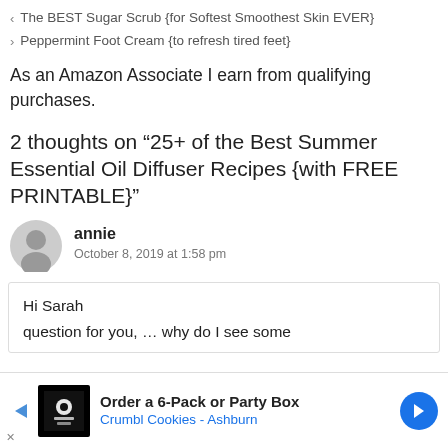< The BEST Sugar Scrub {for Softest Smoothest Skin EVER}
> Peppermint Foot Cream {to refresh tired feet}
As an Amazon Associate I earn from qualifying purchases.
2 thoughts on “25+ of the Best Summer Essential Oil Diffuser Recipes {with FREE PRINTABLE}”
annie
October 8, 2019 at 1:58 pm
Hi Sarah
question for you, … why do I see some
[Figure (other): Advertisement banner: Order a 6-Pack or Party Box - Crumbl Cookies - Ashburn]